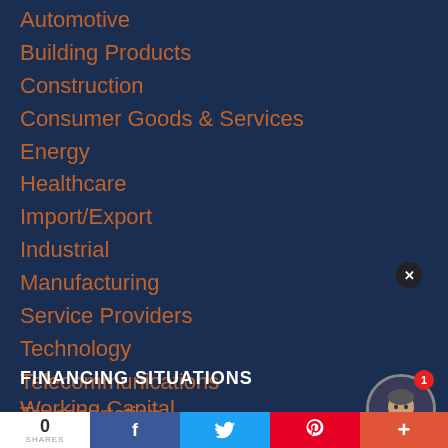Automotive
Building Products
Construction
Consumer Goods & Services
Energy
Healthcare
Import/Export
Industrial
Manufacturing
Service Providers
Technology
Telecommunications
Transportation
Wholesale Distribution
FINANCING SITUATIONS
Working Capital
[Figure (screenshot): Chat popup with message: Hello! I am Chris Foss, Mgr Direct Sales Prestige Capital. How can I help you fund your business today? With avatar photo of a man in a suit and notification badge showing 1.]
0 SHARES [Facebook] [Twitter] [Pinterest] [+]